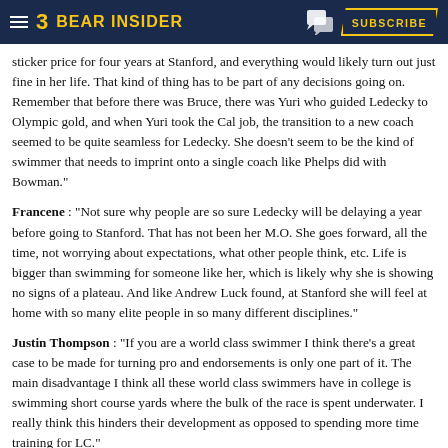BEAR INSIDER | SUBSCRIBE
sticker price for four years at Stanford, and everything would likely turn out just fine in her life. That kind of thing has to be part of any decisions going on. Remember that before there was Bruce, there was Yuri who guided Ledecky to Olympic gold, and when Yuri took the Cal job, the transition to a new coach seemed to be quite seamless for Ledecky. She doesn't seem to be the kind of swimmer that needs to imprint onto a single coach like Phelps did with Bowman."
Francene : "Not sure why people are so sure Ledecky will be delaying a year before going to Stanford. That has not been her M.O. She goes forward, all the time, not worrying about expectations, what other people think, etc. Life is bigger than swimming for someone like her, which is likely why she is showing no signs of a plateau. And like Andrew Luck found, at Stanford she will feel at home with so many elite people in so many different disciplines."
Justin Thompson : "If you are a world class swimmer I think there's a great case to be made for turning pro and endorsements is only one part of it. The main disadvantage I think all these world class swimmers have in college is swimming short course yards where the bulk of the race is spent underwater. I really think this hinders their development as opposed to spending more time training for LC."
[/COLOR]